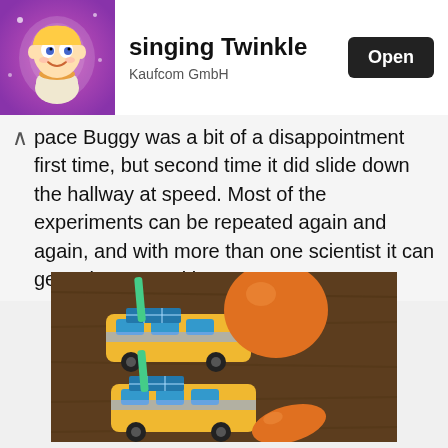[Figure (screenshot): App store banner showing a cartoon character app icon for 'singing Twinkle' by Kaufcom GmbH with an Open button]
singing Twinkle
Kaufcom GmbH
pace Buggy was a bit of a disappointment first time, but second time it did slide down the hallway at speed. Most of the experiments can be repeated again and again, and with more than one scientist it can get quite competitive.
[Figure (photo): Two yellow balloon-powered toy cars (Space Buggies) on a wooden surface. Top car has an inflated orange balloon, bottom car has a deflated orange balloon. Both have a green straw and blue decorations.]